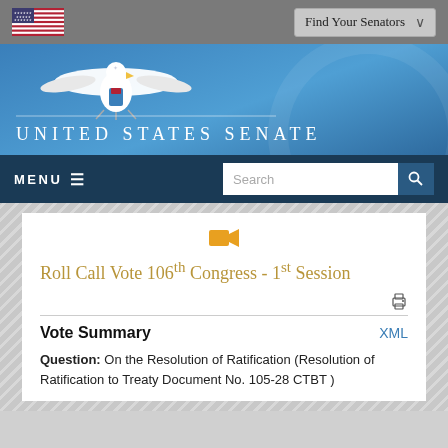Find Your Senators
[Figure (logo): United States Senate eagle logo with 'UNITED STATES SENATE' text on blue banner]
MENU  Search
[Figure (other): Video camera icon (orange)]
Roll Call Vote 106th Congress - 1st Session
Vote Summary
Question: On the Resolution of Ratification (Resolution of Ratification to Treaty Document No. 105-28 CTBT )